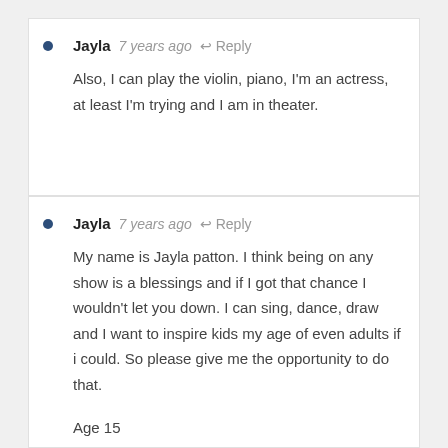Jayla 7 years ago Reply
Also, I can play the violin, piano, I'm an actress, at least I'm trying and I am in theater.
Jayla 7 years ago Reply
My name is Jayla patton. I think being on any show is a blessings and if I got that chance I wouldn't let you down. I can sing, dance, draw and I want to inspire kids my age of even adults if i could. So please give me the opportunity to do that.

Age 15

Brown eyes

height 5"1